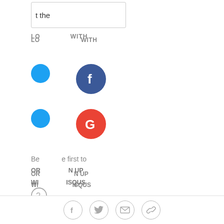[Figure (screenshot): Partial login/comment form UI: input box with 't the' text visible at top]
LO  WITH
[Figure (logo): Facebook login button - dark blue circle with white F]
[Figure (logo): Google login button - red circle with white G]
OR  N UP
WI  ISQUS
[Figure (other): Disqus logo/icon - circle with question mark]
[Figure (screenshot): Input field with 'ne' text visible]
Be  e first to
[Figure (infographic): Social share bar: Facebook, Twitter, email, link icons in outline circles]